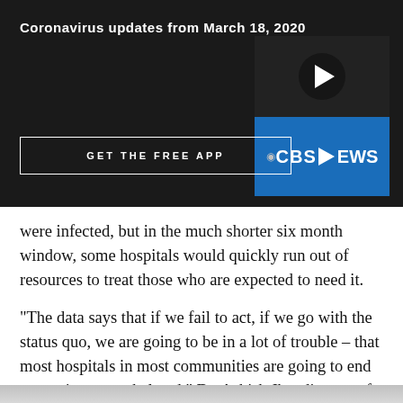Coronavirus updates from March 18, 2020
[Figure (screenshot): CBS News video thumbnail with play button and CBS NEWS logo on blue background]
GET THE FREE APP
were infected, but in the much shorter six month window, some hospitals would quickly run out of resources to treat those who are expected to need it.
"The data says that if we fail to act, if we go with the status quo, we are going to be in a lot of trouble – that most hospitals in most communities are going to end up getting overwhelmed," Dr. Ashish Jha, director of the Harvard Global Health Institute, told CBS News' Anna Werner.